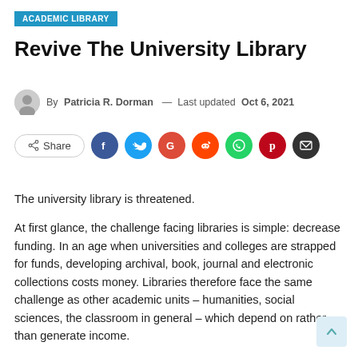ACADEMIC LIBRARY
Revive The University Library
By Patricia R. Dorman — Last updated Oct 6, 2021
[Figure (infographic): Social share buttons row: Share button, Facebook, Twitter, Google, Reddit, WhatsApp, Pinterest, Email icons]
The university library is threatened.
At first glance, the challenge facing libraries is simple: decrease funding. In an age when universities and colleges are strapped for funds, developing archival, book, journal and electronic collections costs money. Libraries therefore face the same challenge as other academic units – humanities, social sciences, the classroom in general – which depend on rather than generate income.